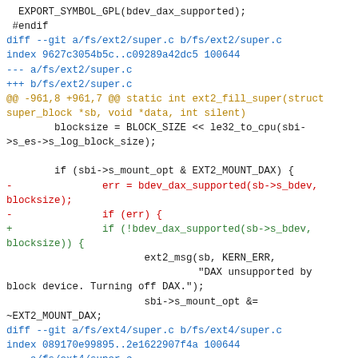EXPORT_SYMBOL_GPL(bdev_dax_supported);
 #endif
diff --git a/fs/ext2/super.c b/fs/ext2/super.c
index 9627c3054b5c..c09289a42dc5 100644
--- a/fs/ext2/super.c
+++ b/fs/ext2/super.c
@@ -961,8 +961,7 @@ static int ext2_fill_super(struct super_block *sb, void *data, int silent)
        blocksize = BLOCK_SIZE << le32_to_cpu(sbi->s_es->s_log_block_size);

        if (sbi->s_mount_opt & EXT2_MOUNT_DAX) {
-               err = bdev_dax_supported(sb->s_bdev, blocksize);
-               if (err) {
+               if (!bdev_dax_supported(sb->s_bdev, blocksize)) {
                       ext2_msg(sb, KERN_ERR,
                                "DAX unsupported by block device. Turning off DAX.");
                       sbi->s_mount_opt &= ~EXT2_MOUNT_DAX;
diff --git a/fs/ext4/super.c b/fs/ext4/super.c
index 089170e99895..2e1622907f4a 100644
--- a/fs/ext4/super.c
+++ b/fs/ext4/super.c
@@ -3732,8 +3732,7 @@ static int ext4_fill_super(struct super_block *sb, void *data, int silent)
                                " that may
contain inline data");